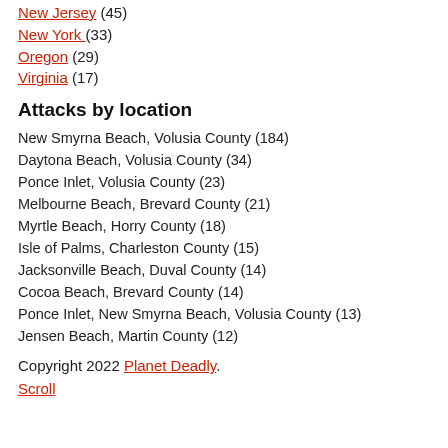New Jersey (45)
New York (33)
Oregon (29)
Virginia (17)
Attacks by location
New Smyrna Beach, Volusia County (184)
Daytona Beach, Volusia County (34)
Ponce Inlet, Volusia County (23)
Melbourne Beach, Brevard County (21)
Myrtle Beach, Horry County (18)
Isle of Palms, Charleston County (15)
Jacksonville Beach, Duval County (14)
Cocoa Beach, Brevard County (14)
Ponce Inlet, New Smyrna Beach, Volusia County (13)
Jensen Beach, Martin County (12)
Copyright 2022 Planet Deadly. Scroll